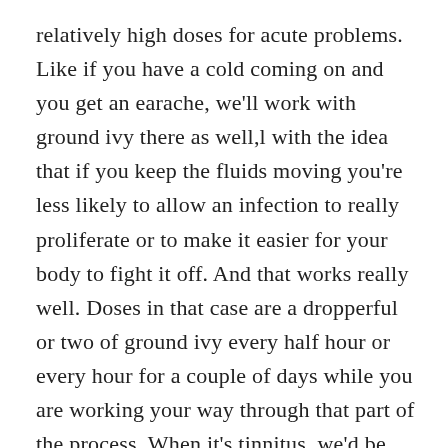relatively high doses for acute problems. Like if you have a cold coming on and you get an earache, we'll work with ground ivy there as well,l with the idea that if you keep the fluids moving you're less likely to allow an infection to really proliferate or to make it easier for your body to fight it off. And that works really well. Doses in that case are a dropperful or two of ground ivy every half hour or every hour for a couple of days while you are working your way through that part of the process. When it's tinnitus, we'd be more inclined to have a kind of more standard schedule. A dropperful of tincture maybe three times a day, maybe two